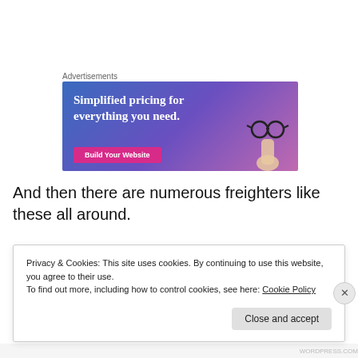Advertisements
[Figure (illustration): Advertisement banner with gradient blue-purple background. Text reads 'Simplified pricing for everything you need.' with a pink 'Build Your Website' button and a hand holding glasses graphic.]
And then there are numerous freighters like these all around.
Privacy & Cookies: This site uses cookies. By continuing to use this website, you agree to their use.
To find out more, including how to control cookies, see here: Cookie Policy
Close and accept